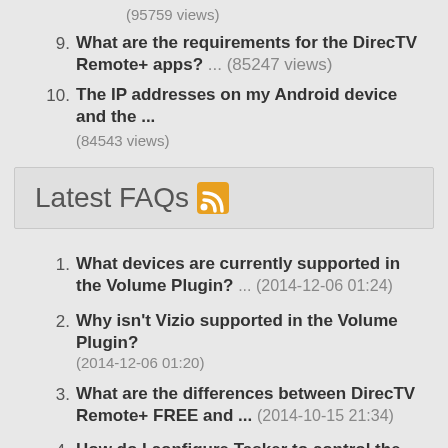(95759 views)
9. What are the requirements for the DirecTV Remote+ apps? ... (85247 views)
10. The IP addresses on my Android device and the ... (84543 views)
Latest FAQs
1. What devices are currently supported in the Volume Plugin? ... (2014-12-06 01:24)
2. Why isn't Vizio supported in the Volume Plugin? (2014-12-06 01:20)
3. What are the differences between DirecTV Remote+ FREE and ... (2014-10-15 21:34)
4. How do I configure Tasker to control the DirecTV ...